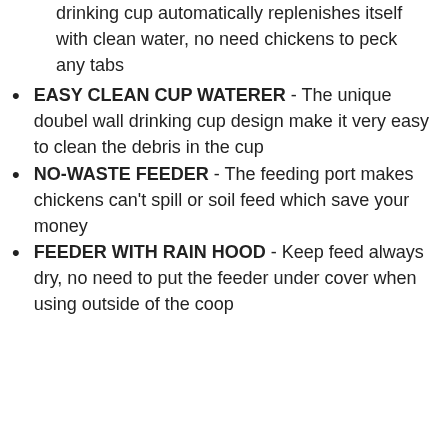drinking cup automatically replenishes itself with clean water, no need chickens to peck any tabs
EASY CLEAN CUP WATERER - The unique doubel wall drinking cup design make it very easy to clean the debris in the cup
NO-WASTE FEEDER - The feeding port makes chickens can't spill or soil feed which save your money
FEEDER WITH RAIN HOOD - Keep feed always dry, no need to put the feeder under cover when using outside of the coop